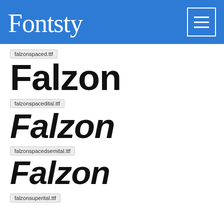Fontsty
falzonspaced.ttf
Falzon
falzonspacedital.ttf
Falzon
falzonspacedsemital.ttf
Falzon
falzonsuperital.ttf